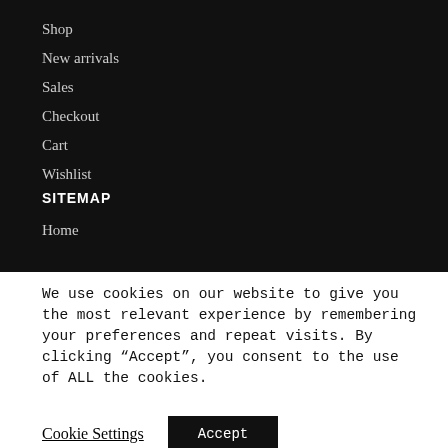Shop
New arrivals
Sales
Checkout
Cart
Wishlist
SITEMAP
Home
We use cookies on our website to give you the most relevant experience by remembering your preferences and repeat visits. By clicking “Accept”, you consent to the use of ALL the cookies.
Cookie Settings
Accept